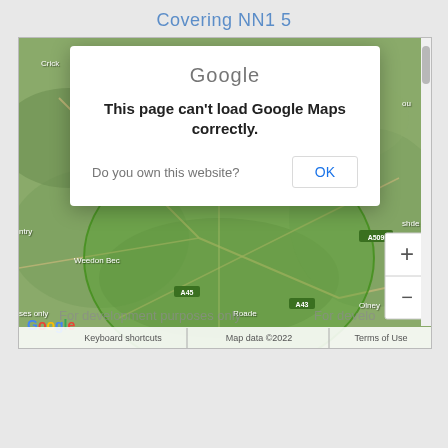Covering NN1 5
[Figure (map): Google Maps screenshot showing area covering postcode NN1 5 in Northamptonshire, UK. Map displays terrain view with green overlay circle marking the coverage area. A Google Maps error dialog overlay reads 'This page can't load Google Maps correctly. Do you own this website? OK'. Map shows places including Crick, Weedon Bec, Roade, Olney. Map footer shows 'Keyboard shortcuts | Map data ©2022 | Terms of Use'. Zoom controls visible on right side.]